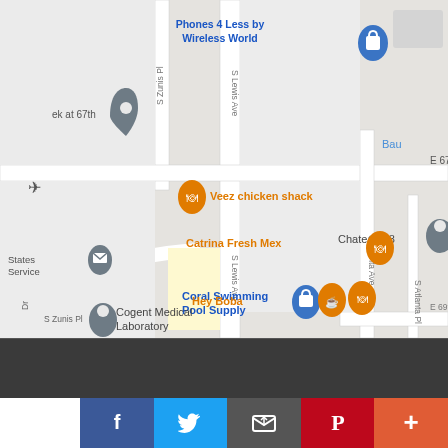[Figure (map): Google Maps screenshot showing area around S Lewis Ave and E 67th St in Tulsa, Oklahoma. Businesses shown include: Phones 4 Less by Wireless World, Veez chicken shack, Chateau 68, Coral Swimming Pool Supply, Catrina Fresh Mex, Cogent Medical Laboratory, Hey Boba, Krab Kingz Seafood Tulsa. Streets labeled: S Zunis Pl, S Lewis Ave, E 67th St, S Atlanta Ave, S Atlanta Pl, E 69th.]
[Figure (infographic): Social sharing bar at bottom with accessibility icon and SHARES label, Facebook button, Twitter button, Email button, Pinterest button, and More (+) button.]